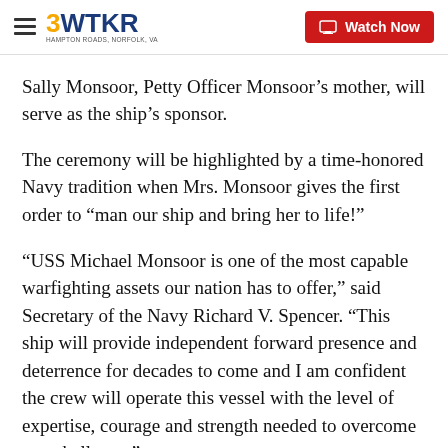3WTKR | Watch Now
Sally Monsoor, Petty Officer Monsoor’s mother, will serve as the ship’s sponsor.
The ceremony will be highlighted by a time-honored Navy tradition when Mrs. Monsoor gives the first order to “man our ship and bring her to life!”
“USS Michael Monsoor is one of the most capable warfighting assets our nation has to offer,” said Secretary of the Navy Richard V. Spencer. “This ship will provide independent forward presence and deterrence for decades to come and I am confident the crew will operate this vessel with the level of expertise, courage and strength needed to overcome any challenge.”